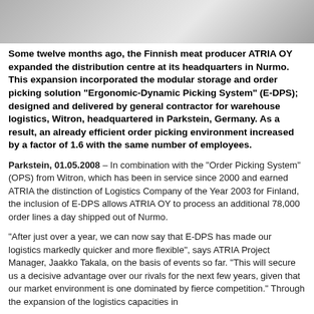[Figure (photo): Partial photograph at top of page showing a warehouse or logistics facility environment, partially cropped]
Some twelve months ago, the Finnish meat producer ATRIA OY expanded the distribution centre at its headquarters in Nurmo. This expansion incorporated the modular storage and order picking solution "Ergonomic-Dynamic Picking System" (E-DPS); designed and delivered by general contractor for warehouse logistics, Witron, headquartered in Parkstein, Germany. As a result, an already efficient order picking environment increased by a factor of 1.6 with the same number of employees.
Parkstein, 01.05.2008 – In combination with the "Order Picking System" (OPS) from Witron, which has been in service since 2000 and earned ATRIA the distinction of Logistics Company of the Year 2003 for Finland, the inclusion of E-DPS allows ATRIA OY to process an additional 78,000 order lines a day shipped out of Nurmo.
"After just over a year, we can now say that E-DPS has made our logistics markedly quicker and more flexible", says ATRIA Project Manager, Jaakko Takala, on the basis of events so far. "This will secure us a decisive advantage over our rivals for the next few years, given that our market environment is one dominated by fierce competition." Through the expansion of the logistics capacities in